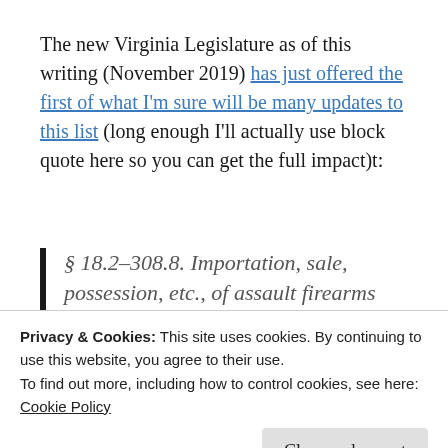The new Virginia Legislature as of this writing (November 2019) has just offered the first of what I'm sure will be many updates to this list (long enough I'll actually use block quote here so you can get the full impact)t:
§ 18.2-308.8. Importation, sale, possession, etc., of assault firearms prohibited; penalty.
A. For the purposes of this section:
Privacy & Cookies: This site uses cookies. By continuing to use this website, you agree to their use.
To find out more, including how to control cookies, see here: Cookie Policy
Close and accept
a combustible material with a fixed